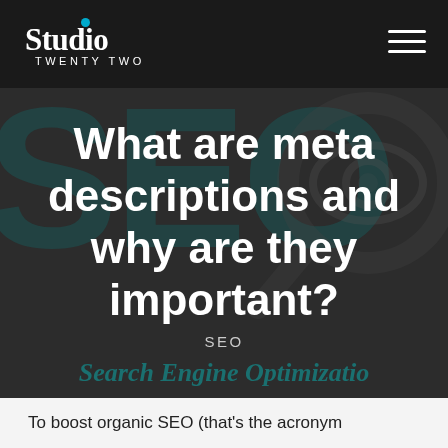[Figure (logo): Studio Twenty Two logo — white serif/sans text with a teal dot over the letter i]
[Figure (illustration): Dark background hero image with large teal SEO letters, a magnifying glass with an eye icon, and bold white article title text. Includes 'SEO' label and 'Search Engine Optimization' italic subtitle at bottom.]
What are meta descriptions and why are they important?
SEO
Search Engine Optimization
To boost organic SEO (that's the acronym